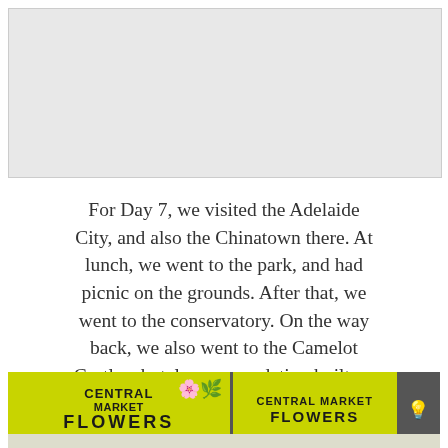[Figure (photo): A photo placeholder at the top of the page — light gray rectangle representing a photo not visible in this crop]
For Day 7, we visited the Adelaide City, and also the Chinatown there. At lunch, we went to the park, and had picnic on the grounds. After that, we went to the conservatory. On the way back, we also went to the Camelot Castle,a hotel accommodation built on castle grounds.
[Figure (photo): Photo of Central Market Flowers signage — yellow signs reading 'CENTRAL MARKET FLOWERS' on a stall inside a market building]